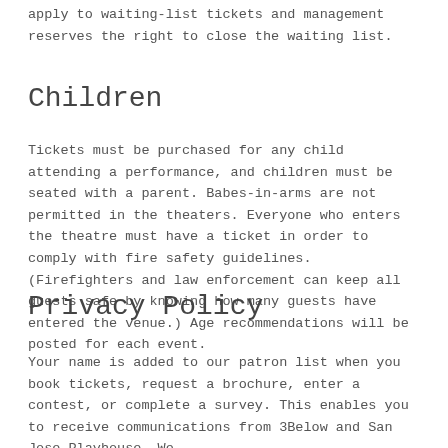apply to waiting-list tickets and management reserves the right to close the waiting list.
Children
Tickets must be purchased for any child attending a performance, and children must be seated with a parent. Babes-in-arms are not permitted in the theaters. Everyone who enters the theatre must have a ticket in order to comply with fire safety guidelines. (Firefighters and law enforcement can keep all guests safe by knowing how many guests have entered the venue.) Age recommendations will be posted for each event.
Privacy Policy
Your name is added to our patron list when you book tickets, request a brochure, enter a contest, or complete a survey. This enables you to receive communications from 3Below and San Jose Playhouse. We